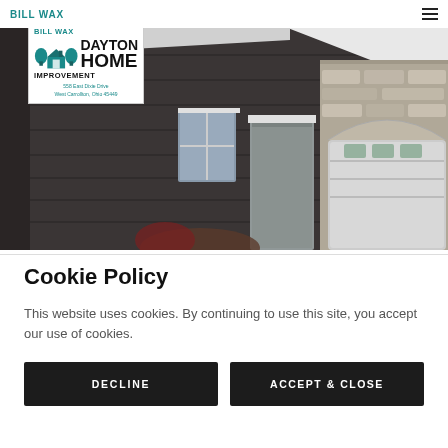BILL WAX
[Figure (photo): Exterior of a home with dark shingle siding, white trim windows, a gray front door, and a stone-accented garage — hero banner image for Dayton Home Improvement website]
[Figure (logo): Dayton Home Improvement logo with teal trees and house icon, bold black text reading DAYTON HOME IMPROVEMENT, address 558 East Dixie Drive, West Carrollton, Ohio 45449]
Cookie Policy
This website uses cookies. By continuing to use this site, you accept our use of cookies.
DECLINE
ACCEPT & CLOSE